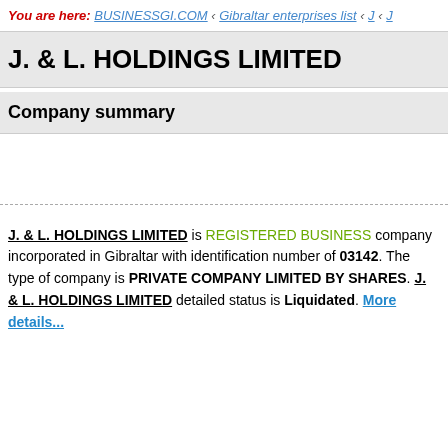You are here: BUSINESSGI.COM › Gibraltar enterprises list › J › J
J. & L. HOLDINGS LIMITED
Company summary
J. & L. HOLDINGS LIMITED is REGISTERED BUSINESS company incorporated in Gibraltar with identification number of 03142. The type of company is PRIVATE COMPANY LIMITED BY SHARES. J. & L. HOLDINGS LIMITED detailed status is Liquidated. More details...